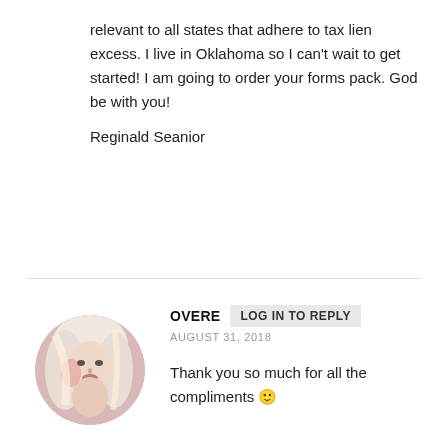relevant to all states that adhere to tax lien excess. I live in Oklahoma so I can't wait to get started! I am going to order your forms pack. God be with you!
Reginald Seanior
[Figure (photo): Circular avatar photo of a blonde woman]
OVERE   LOG IN TO REPLY
AUGUST 31, 2018
Thank you so much for all the compliments 🙂